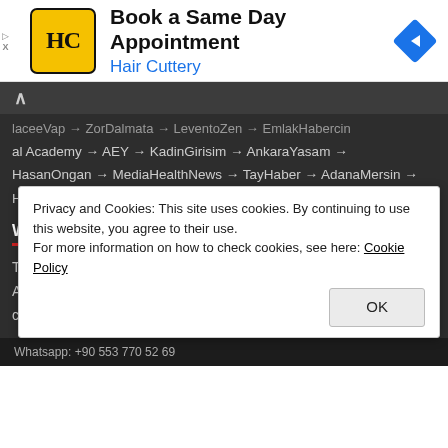[Figure (screenshot): Advertisement banner for Hair Cuttery with logo, title 'Book a Same Day Appointment', subtitle 'Hair Cuttery', and blue navigation arrow icon]
laceeVap → ZorDalmata → LeventoZen → EmlakHabercin → al Academy → AEY → KadinGirisim → AnkaraYasam → HasanOngan → MediaHealthNews → TayHaber → AdanaMersin → HatayNews → BlauAutonom → MerhabaIzmir → CaravanNews
WE SUPPORT
Trabzon → Cigli Auto Expertise → Kars Auto Expertise → Auto Appraisal → Turkey Implant → Haberingo → cigdemdedeogludesignpr.com → Dealership Companies
Privacy and Cookies: This site uses cookies. By continuing to use this website, you agree to their use.
For more information on how to check cookies, see here: Cookie Policy
Whatsapp: +90 553 770 52 69